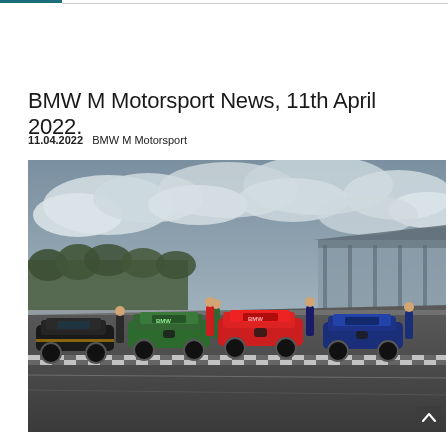BMW M Motorsport News, 11th April 2022.
11.04.2022  BMW M Motorsport
[Figure (photo): Four BMW M race cars (black, green, red, and blue) lined up on a racing circuit pit straight with their drivers standing beside them. Grandstands visible in the background under a cloudy sky.]